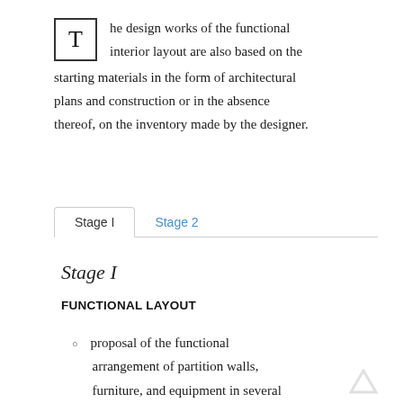The design works of the functional interior layout are also based on the starting materials in the form of architectural plans and construction or in the absence thereof, on the inventory made by the designer.
[Figure (other): Tab navigation with two tabs: 'Stage I' (active) and 'Stage 2' (inactive, shown in blue)]
Stage I
FUNCTIONAL LAYOUT
proposal of the functional arrangement of partition walls, furniture, and equipment in several